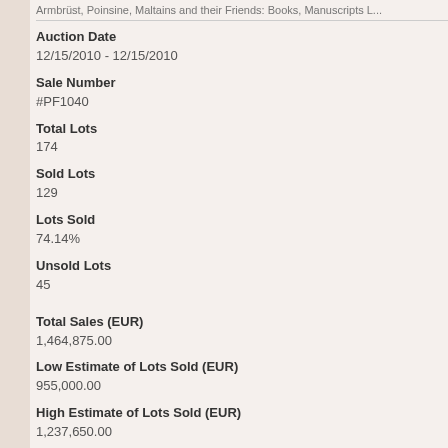Armbrüst, Poinsine, Maltains and their Friends: Books, Manuscripts L...
Auction Date
12/15/2010 - 12/15/2010
Sale Number
#PF1040
Total Lots
174
Sold Lots
129
Lots Sold
74.14%
Unsold Lots
45
Total Sales (EUR)
1,464,875.00
Low Estimate of Lots Sold (EUR)
955,000.00
High Estimate of Lots Sold (EUR)
1,237,650.00